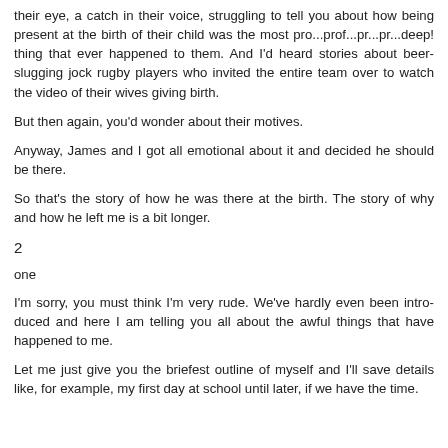their eye, a catch in their voice, struggling to tell you about how being present at the birth of their child was the most pro...prof...pr...pr...deep! thing that ever happened to them. And I'd heard stories about beer-slugging jock rugby players who invited the entire team over to watch the video of their wives giving birth.
But then again, you'd wonder about their motives.
Anyway, James and I got all emotional about it and decided he should be there.
So that's the story of how he was there at the birth. The story of why and how he left me is a bit longer.
2
one
I'm sorry, you must think I'm very rude. We've hardly even been introduced and here I am telling you all about the awful things that have happened to me.
Let me just give you the briefest outline of myself and I'll save details like, for example, my first day at school until later, if we have the time.